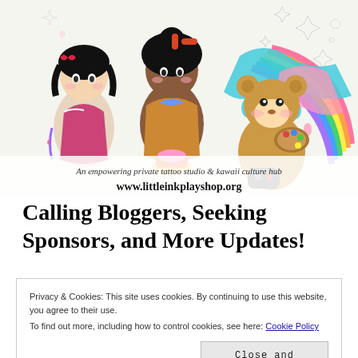[Figure (illustration): Colorful kawaii-style illustration banner for Little Ink Play Shop featuring anime-style characters, tattoo art, paint palettes, rainbows, and the text 'An empowering private tattoo studio & kawaii culture hub' and 'www.littleinkplayshop.org']
Calling Bloggers, Seeking Sponsors, and More Updates!
Privacy & Cookies: This site uses cookies. By continuing to use this website, you agree to their use. To find out more, including how to control cookies, see here: Cookie Policy
Close and accept